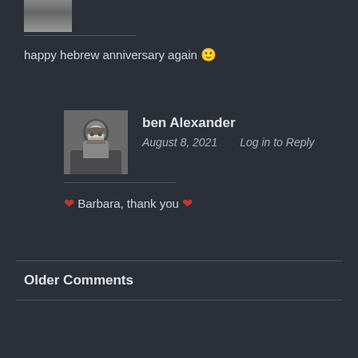[Figure (photo): Partial avatar photo of a person at the top of the page, cropped]
happy hebrew anniversary again 🙂
[Figure (photo): Black and white avatar photo of ben Alexander, a bearded man with glasses]
ben Alexander
August 8, 2021   Log in to Reply
❤ Barbara, thank you ❤
Older Comments